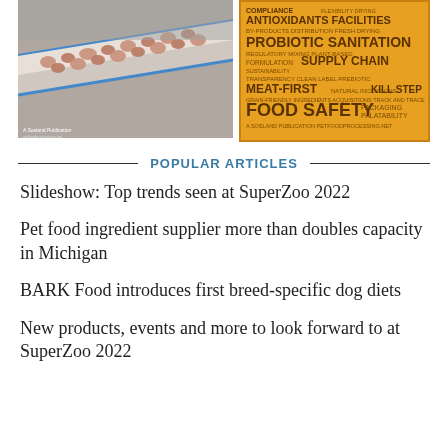[Figure (photo): Pet food processing conveyor belt with kibble, person in lab coat in background]
[Figure (illustration): Orange magazine cover with keyword cloud: COMPLIANCE, ANTIOXIDANTS, FACILITIES, BY-PRODUCTS, DISTRIBUTION, FRESH DRYING, PROBIOTIC SANITATION, REGULATORY MIXING PLANT-BASED, FORMULATION SUSTAINABILITY SUPPLY CHAIN, TRANSPARENCY CLEAN LABEL PREBIOTIC, MEAT-FIRST NATURAL KILL STEP, GRAIN-FRIENDLY INGREDIENTS ACQUISITIONS TRACK AND TRACE, FOOD SAFETY PACKAGING PALATABILITY, A SOSLAND PUBLICATION PETFOODPROCESSING.NET]
POPULAR ARTICLES
Slideshow: Top trends seen at SuperZoo 2022
Pet food ingredient supplier more than doubles capacity in Michigan
BARK Food introduces first breed-specific dog diets
New products, events and more to look forward to at SuperZoo 2022